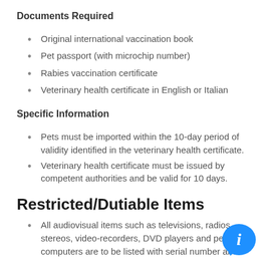Documents Required
Original international vaccination book
Pet passport (with microchip number)
Rabies vaccination certificate
Veterinary health certificate in English or Italian
Specific Information
Pets must be imported within the 10-day period of validity identified in the veterinary health certificate.
Veterinary health certificate must be issued by competent authorities and be valid for 10 days.
Restricted/Dutiable Items
All audiovisual items such as televisions, radios, stereos, video-recorders, DVD players and personal computers are to be listed with serial number and